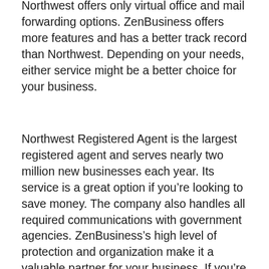Northwest offers only virtual office and mail forwarding options. ZenBusiness offers more features and has a better track record than Northwest. Depending on your needs, either service might be a better choice for your business.
Northwest Registered Agent is the largest registered agent and serves nearly two million new businesses each year. Its service is a great option if you’re looking to save money. The company also handles all required communications with government agencies. ZenBusiness’s high level of protection and organization make it a valuable partner for your business. If you’re wondering which one is right for you, check out the comparison table below. Visit their